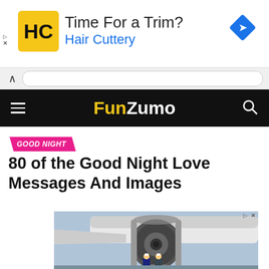[Figure (screenshot): Hair Cuttery advertisement banner with HC logo, text 'Time For a Trim?' and 'Hair Cuttery', and a blue diamond navigation icon on the right]
[Figure (screenshot): Browser navigation bar with back chevron and URL bar]
[Figure (screenshot): FunZumo website navigation bar with hamburger menu, FunZumo logo in yellow/white, and search icon]
GOOD NIGHT
80 of the Good Night Love Messages And Images
[Figure (photo): Advertisement photo showing airplane engine with two workers in hard hats standing beneath it]